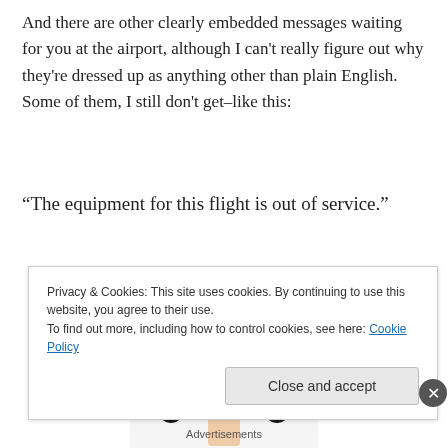And there are other clearly embedded messages waiting for you at the airport, although I can't really figure out why they're dressed up as anything other than plain English. Some of them, I still don't get–like this:
“The equipment for this flight is out of service.”
[Figure (photo): A person with black hair and glasses making an exaggerated shocked or screaming expression, photographed from the chest up against a white background.]
Privacy & Cookies: This site uses cookies. By continuing to use this website, you agree to their use.
To find out more, including how to control cookies, see here: Cookie Policy
Close and accept
Advertisements